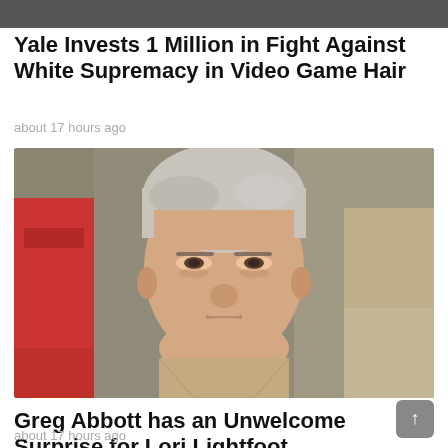[Figure (photo): Top portion of a photo, partially cropped — appears to be a dark/muted image strip at the very top of the page.]
Yale Invests 1 Million in Fight Against White Supremacy in Video Game Hair
about 17 hours ago
[Figure (photo): Photo of a middle-aged man with gray hair and a serious expression, wearing a tan/khaki jacket. In the background is a person in a red shirt on the left and a person in a tan jacket on the right. The man appears to be Greg Abbott.]
Greg Abbott has an Unwelcome Surprise for Lori Lightfoot
about 17 hours ago